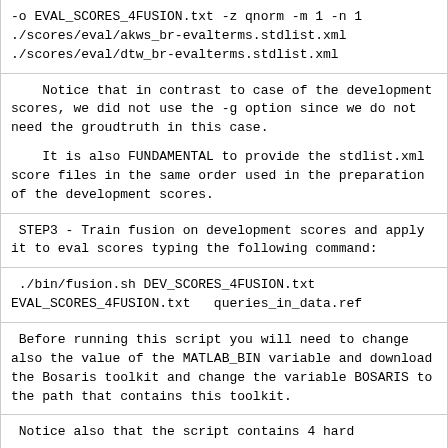-o EVAL_SCORES_4FUSION.txt -z qnorm -m 1 -n 1
./scores/eval/akws_br-evalterms.stdlist.xml
./scores/eval/dtw_br-evalterms.stdlist.xml
Notice that in contrast to case of the development scores, we did not use the -g option since we do not need the groudtruth in this case.

It is also FUNDAMENTAL to provide the stdlist.xml score files in the same order used in the preparation of the development scores.
STEP3 - Train fusion on development scores and apply it to eval scores typing the following command:
./bin/fusion.sh DEV_SCORES_4FUSION.txt EVAL_SCORES_4FUSION.txt  queries_in_data.ref
Before running this script you will need to change also the value of the MATLAB_BIN variable and download the Bosaris toolkit and change the variable BOSARIS to the path that contains this toolkit.
Notice also that the script contains 4 hard